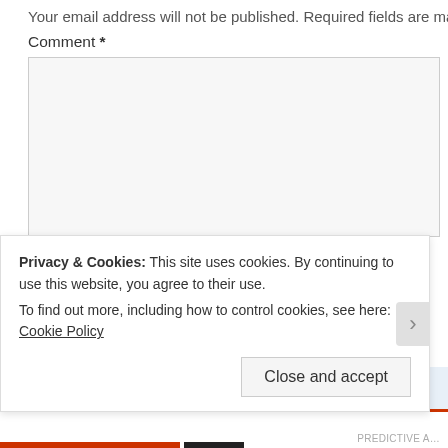Your email address will not be published. Required fields are ma
Comment *
Name *
Email *
Website
Post Comment  ☐ Notify me of new comments via email.
Privacy & Cookies: This site uses cookies. By continuing to use this website, you agree to their use. To find out more, including how to control cookies, see here: Cookie Policy
Close and accept